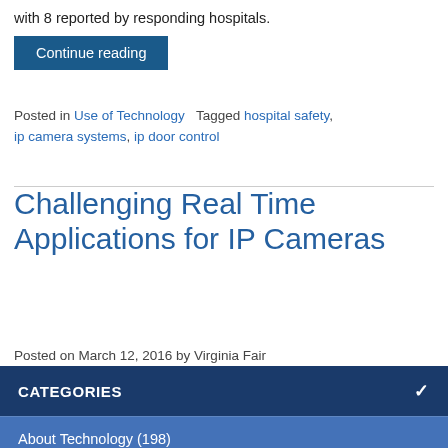with 8 reported by responding hospitals.
Continue reading
Posted in Use of Technology   Tagged hospital safety, ip camera systems, ip door control
Challenging Real Time Applications for IP Cameras
Posted on March 12, 2016 by Virginia Fair
CATEGORIES
About Technology (198)
Technical Jokes (93)
Use of Technology (39)
pleasure of doing business